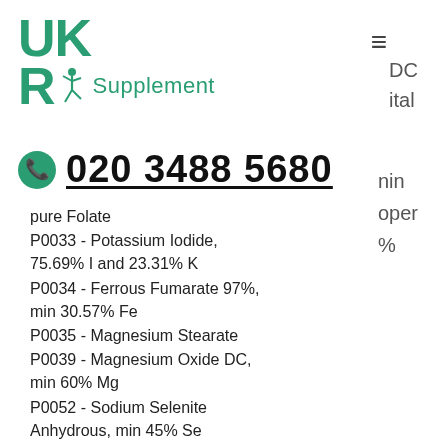[Figure (logo): UKRC Supplement logo with teal/green dancer figure]
≡
DC
ital
nin
oper
%
020 3488 5680
pure Folate
P0033 - Potassium Iodide, 75.69% I and 23.31% K
P0034 - Ferrous Fumarate 97%, min 30.57% Fe
P0035 - Magnesium Stearate
P0039 - Magnesium Oxide DC, min 60% Mg
P0052 - Sodium Selenite Anhydrous, min 45% Se
P0055 - Vitamin A (Retinol)